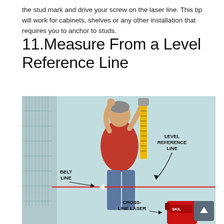the stud mark and drive your screw on the laser line. This tip will work for cabinets, shelves or any other installation that requires you to anchor to studs.
11.Measure From a Level Reference Line
[Figure (photo): A man in a red shirt measuring up a wall with a tape measure. A red laser line (cross-line laser) runs horizontally across the wall at belt height. Labels indicate: BELT LINE (pointing to the laser at waist level), LEVEL REFERENCE LINE (pointing to the wall above), and CROSS-LINE LASER (pointing to a red laser tool on the floor). A wire shelf unit is visible on the left side.]